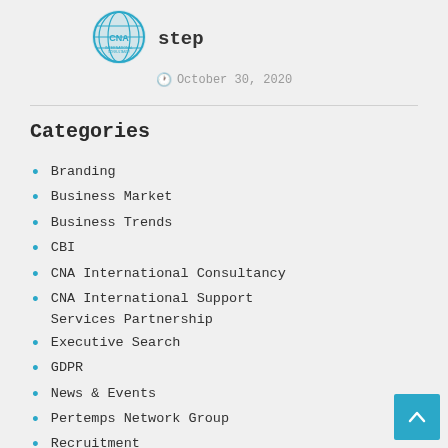[Figure (logo): CNA International Consultancy globe logo in teal/blue]
step
October 30, 2020
Categories
Branding
Business Market
Business Trends
CBI
CNA International Consultancy
CNA International Support Services Partnership
Executive Search
GDPR
News & Events
Pertemps Network Group
Recruitment
Start-up